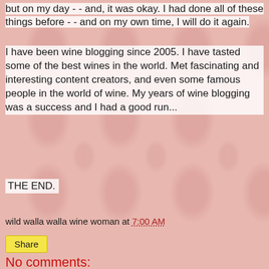but on my day - - and, it was okay. I had done all of these things before - - and on my own time, I will do it again.
I have been wine blogging since 2005. I have tasted some of the best wines in the world. Met fascinating and interesting content creators, and even some famous people in the world of wine. My years of wine blogging was a success and I had a good run...
THE END.
wild walla walla wine woman at 7:00 AM
Share
No comments: